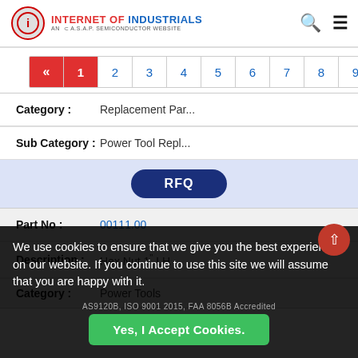INTERNET OF INDUSTRIALS — AN AKAP SEMICONDUCTOR WEBSITE
Pagination: « 1 2 3 4 5 6 7 8 9
| Field | Value |
| --- | --- |
| Category | Replacement Par... |
| Sub Category | Power Tool Repl... |
| RFQ |  |
| Part No | 00111.00 |
| Description | Hex Nut 1" LH |
| Category | Power Tools |
We use cookies to ensure that we give you the best experience on our website. If you continue to use this site we will assume that you are happy with it.
AS9120B, ISO 9001 2015, FAA 8056B Accredited
Yes, I Accept Cookies.